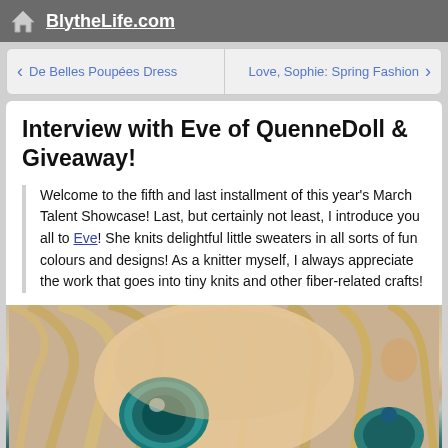BlytheLife.com
< De Belles Poupées Dress    Love, Sophie: Spring Fashion >
Interview with Eve of QuenneDoll & Giveaway!
Welcome to the fifth and last installment of this year's March Talent Showcase! Last, but certainly not least, I introduce you all to Eve! She knits delightful little sweaters in all sorts of fun colours and designs! As a knitter myself, I always appreciate the work that goes into tiny knits and other fiber-related crafts!
[Figure (photo): Close-up photo of a Blythe doll face with large teal/blue eyes and blonde hair]